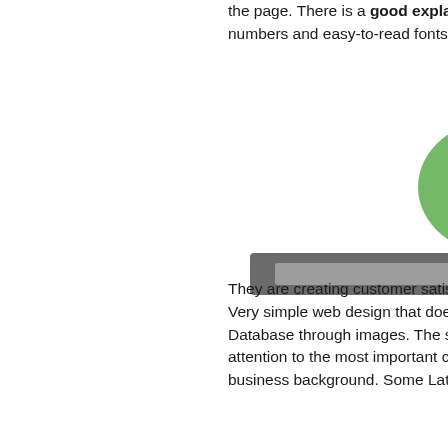the page. There is a good explanation of how the process works, and they used large numbers and easy-to-read fonts.
[Figure (logo): A blurred company logo with a green and blue circular emblem above dark grey text showing a company name.]
They are creating customer satisfaction, as well as their testimonials. 7. City Handyman Very simple web design that does a great job of showing the service Latest Mailing Database through images. The site is mostly white space, with some gold drawing attention to the most important content. Great introduction from the owners, and some business background. Some Latest Mailing Database great testimonials from happy